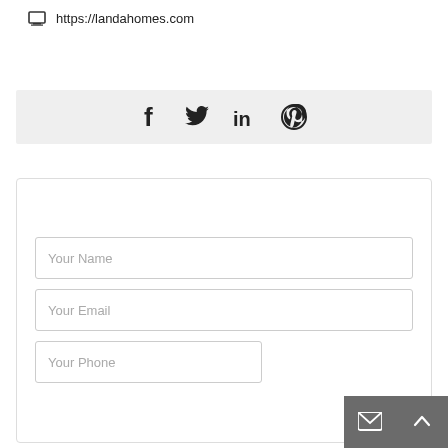https://landahomes.com
[Figure (infographic): Social media icons bar with Facebook, Twitter, LinkedIn, and Pinterest icons on a light grey background]
Contact Me
Your Name
Your Email
Your Phone